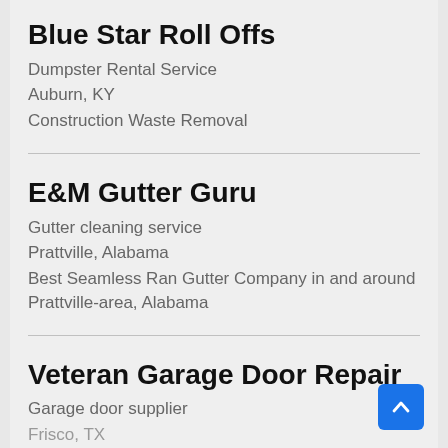Blue Star Roll Offs
Dumpster Rental Service
Auburn, KY
Construction Waste Removal
E&M Gutter Guru
Gutter cleaning service
Prattville, Alabama
Best Seamless Ran Gutter Company in and around Prattville-area, Alabama
Veteran Garage Door Repair
Garage door supplier
Frisco, TX